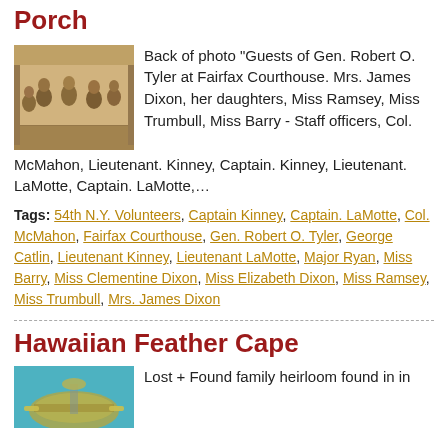Porch
[Figure (photo): Old sepia photograph of a group of people seated on a porch]
Back of photo "Guests of Gen. Robert O. Tyler at Fairfax Courthouse. Mrs. James Dixon, her daughters, Miss Ramsey, Miss Trumbull, Miss Barry - Staff officers, Col. McMahon, Lieutenant. Kinney, Captain. Kinney, Lieutenant. LaMotte, Captain. LaMotte,...
Tags: 54th N.Y. Volunteers, Captain Kinney, Captain. LaMotte, Col. McMahon, Fairfax Courthouse, Gen. Robert O. Tyler, George Catlin, Lieutenant Kinney, Lieutenant LaMotte, Major Ryan, Miss Barry, Miss Clementine Dixon, Miss Elizabeth Dixon, Miss Ramsey, Miss Trumbull, Mrs. James Dixon
Hawaiian Feather Cape
[Figure (photo): Colorful image related to Hawaiian Feather Cape, teal/turquoise background]
Lost + Found family heirloom found in in